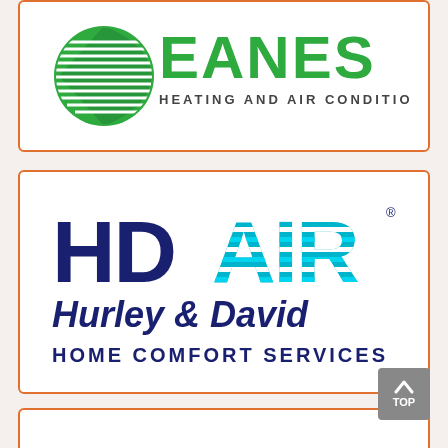[Figure (logo): Eanes Heating and Air Conditioning logo — green circular swoosh icon on the left, green bold text EANES on the right, with HEATING AND AIR CONDITIONING in dark grey below]
[Figure (logo): HD AIR Hurley & David Home Comfort Services logo — HDAIR in large letters with HD in dark navy and AIR in cyan stripes, Hurley & David in dark blue italic, HOME COMFORT SERVICES in dark blue capitals]
[Figure (logo): Partial third company logo card at bottom, content not fully visible]